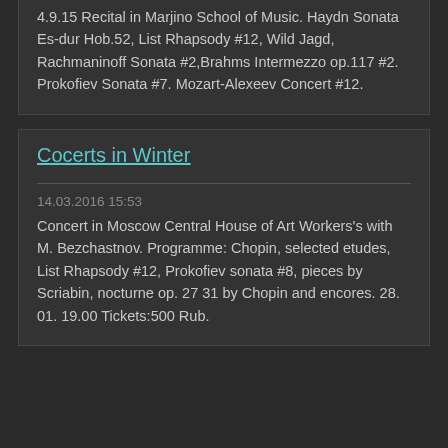4.9.15 Recital in Marjino School of Music. Haydn Sonata Es-dur Hob.52, List Rhapsody #12, Wild Jagd, Rachmaninoff Sonata #2,Brahms Intermezzo op.117 #2. Prokofiev Sonata #7. Mozart-Alexeev Concert #12.
Cocerts in Winter
14.03.2016 15:53
Concert in Moscow Central House of Art Workers's with M. Bezchastnov. Programme: Chopin, selected etudes, List Rhapsody #12, Prokofiev sonata #8, pieces by Scriabin, nocturne op. 27 31 by Chopin and encores. 28. 01. 19.00 Tickets:500 Rub.